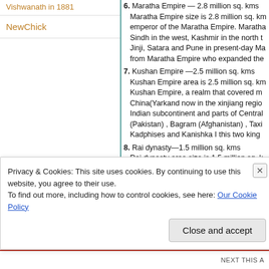Vishwanath in 1881
NewChick
6. Maratha Empire — 2.8 million sq. kms Maratha Empire size is 2.8 million sq. kms emperor of the Maratha Empire. Maratha Sindh in the west, Kashmir in the north t Jinji, Satara and Pune in present-day Ma from Maratha Empire who expanded the
7. Kushan Empire —2.5 million sq. kms Kushan Empire area is 2.5 million sq. km Kushan Empire, a realm that covered m China(Yarkand now in the xinjiang regio Indian subcontinent and parts of Central (Pakistan) , Bagram (Afghanistan) , Taxi Kadphises and Kanishka I this two king
8. Rai dynasty—1.5 million sq. kms Rai dynasty area size is 1.5 million sq. k Arror (Pakistan) . Rai dynasty extended Karachi) in the west, Surat port in the so in the north. Rai Diwa ji (Devaditya) only
9. Mahameghavahana dynasty —1.3 millio Mahameghavahana dynasty area size is
Privacy & Cookies: This site uses cookies. By continuing to use this website, you agree to their use. To find out more, including how to control cookies, see here: Our Cookie Policy
Close and accept